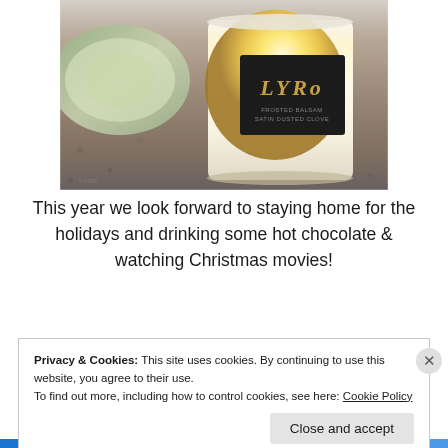[Figure (photo): A LYRD brand candle labeled 'Frosted Balsam Satin Dusted Clove' sitting on a granite countertop, glowing with warm light. The candle has a dark label with gold lettering.]
This year we look forward to staying home for the holidays and drinking some hot chocolate & watching Christmas movies!
Privacy & Cookies: This site uses cookies. By continuing to use this website, you agree to their use.
To find out more, including how to control cookies, see here: Cookie Policy
Close and accept